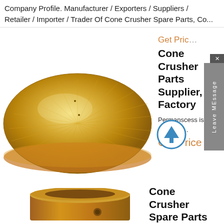Company Profile. Manufacturer / Exporters / Suppliers / Retailer / Importer / Trader Of Cone Crusher Spare Parts, Co...
Get Price
[Figure (photo): Gold/bronze colored flat circular disc - a cone crusher part, viewed from above at slight angle, showing machined surface with radial lines]
Cone Crusher Parts Supplier, Factory
Permanscess is one of the most...
Get Price
[Figure (photo): Bronze/copper colored cylindrical cone crusher spare part - a bushing or sleeve, viewed from slightly above, showing hollow interior]
Cone Crusher Spare Parts